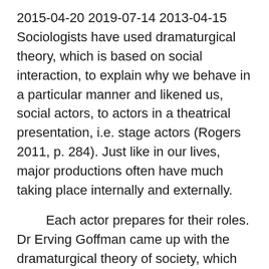2015-04-20 2019-07-14 2013-04-15 Sociologists have used dramaturgical theory, which is based on social interaction, to explain why we behave in a particular manner and likened us, social actors, to actors in a theatrical presentation, i.e. stage actors (Rogers 2011, p. 284). Just like in our lives, major productions often have much taking place internally and externally.
Each actor prepares for their roles. Dr Erving Goffman came up with the dramaturgical theory of society, which symbolized life interactions with theater terms. This theory used theater language to describe ways we interact to maintain social order. Goffman stated that life can be referred to as a play with morals. The crux of his dramaturgical social theory is that the analysis of how teams cooperate